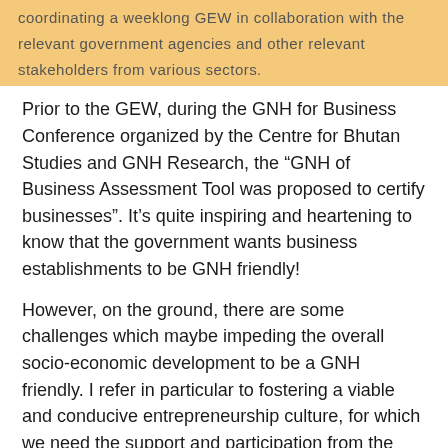coordinating a weeklong GEW in collaboration with the relevant government agencies and other relevant stakeholders from various sectors.
Prior to the GEW, during the GNH for Business Conference organized by the Centre for Bhutan Studies and GNH Research, the “GNH of Business Assessment Tool was proposed to certify businesses”. It’s quite inspiring and heartening to know that the government wants business establishments to be GNH friendly!
However, on the ground, there are some challenges which maybe impeding the overall socio-economic development to be a GNH friendly. I refer in particular to fostering a viable and conducive entrepreneurship culture, for which we need the support and participation from the relevant stakeholders.
My greatest wish and hope is that aspiring entrepreneurs with the determination to succeed, good intentions, and a great business idea, get easy access to financial support.